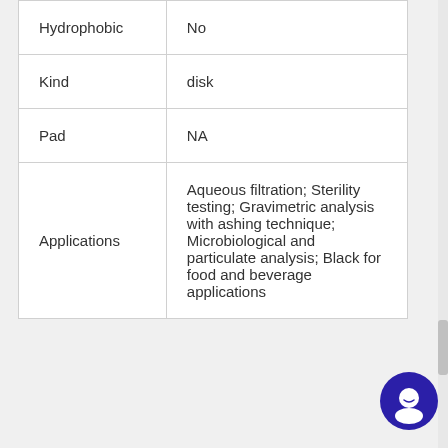| Property | Value |
| --- | --- |
| Hydrophobic | No |
| Kind | disk |
| Pad | NA |
| Applications | Aqueous filtration; Sterility testing; Gravimetric analysis with ashing technique; Microbiological and particulate analysis; Black for food and beverage applications |